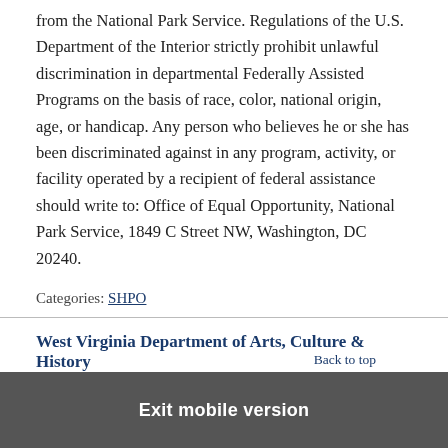from the National Park Service. Regulations of the U.S. Department of the Interior strictly prohibit unlawful discrimination in departmental Federally Assisted Programs on the basis of race, color, national origin, age, or handicap. Any person who believes he or she has been discriminated against in any program, activity, or facility operated by a recipient of federal assistance should write to: Office of Equal Opportunity, National Park Service, 1849 C Street NW, Washington, DC 20240.
Categories: SHPO
West Virginia Department of Arts, Culture & History
Back to top
Exit mobile version